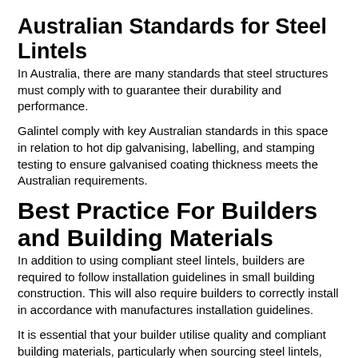Australian Standards for Steel Lintels
In Australia, there are many standards that steel structures must comply with to guarantee their durability and performance.
Galintel comply with key Australian standards in this space in relation to hot dip galvanising, labelling, and stamping testing to ensure galvanised coating thickness meets the Australian requirements.
Best Practice For Builders and Building Materials
In addition to using compliant steel lintels, builders are required to follow installation guidelines in small building construction. This will also require builders to correctly install in accordance with manufactures installation guidelines.
It is essential that your builder utilise quality and compliant building materials, particularly when sourcing steel lintels, angles, and T-Bars for the construction of